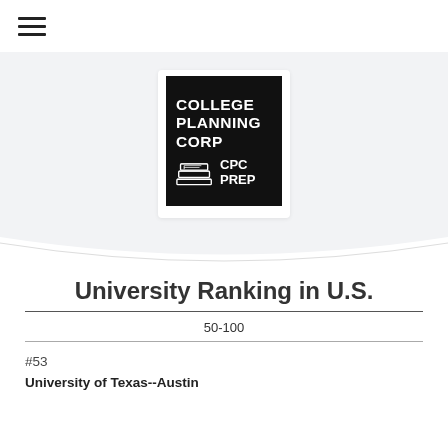[Figure (logo): College Planning Corp / CPC Prep logo — white text on black background with stacked books icon]
University Ranking in U.S.
50-100
#53
University of Texas--Austin